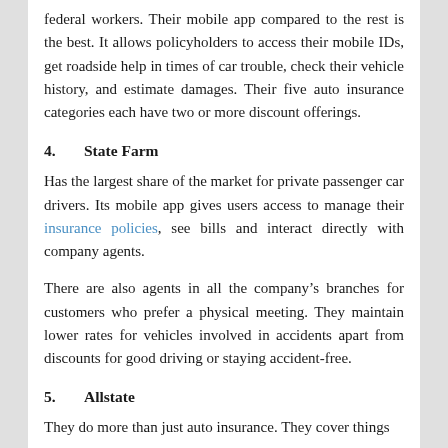federal workers. Their mobile app compared to the rest is the best. It allows policyholders to access their mobile IDs, get roadside help in times of car trouble, check their vehicle history, and estimate damages. Their five auto insurance categories each have two or more discount offerings.
4.    State Farm
Has the largest share of the market for private passenger car drivers. Its mobile app gives users access to manage their insurance policies, see bills and interact directly with company agents.
There are also agents in all the company’s branches for customers who prefer a physical meeting. They maintain lower rates for vehicles involved in accidents apart from discounts for good driving or staying accident-free.
5.    Allstate
They do more than just auto insurance. They cover things